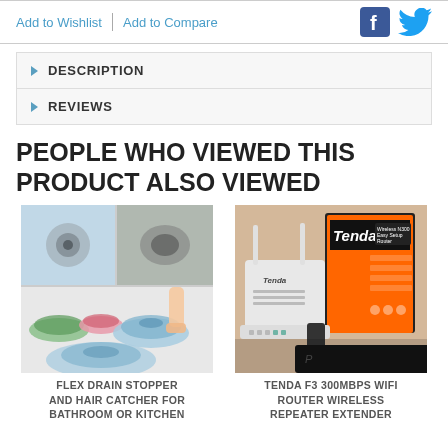Add to Wishlist | Add to Compare
DESCRIPTION
REVIEWS
PEOPLE WHO VIEWED THIS PRODUCT ALSO VIEWED
[Figure (photo): Flex drain stopper and hair catcher product photo showing multiple colorful drain stoppers]
FLEX DRAIN STOPPER AND HAIR CATCHER FOR BATHROOM OR KITCHEN
[Figure (photo): Tenda F3 300Mbps WiFi Router wireless repeater extender product photo with box]
TENDA F3 300MBPS WIFI ROUTER WIRELESS REPEATER EXTENDED